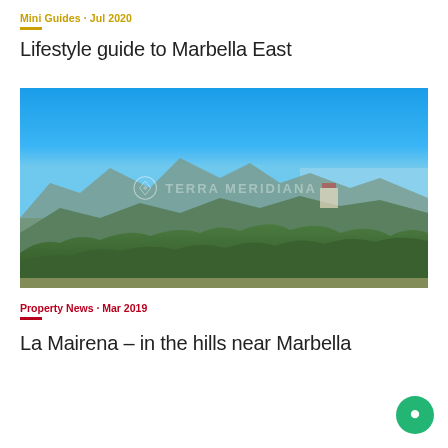Mini Guides · Jul 2020
Lifestyle guide to Marbella East
[Figure (photo): Aerial panoramic photo of La Mairena hills near Marbella, showing lush green trees, white villas, mountain range in background with clear blue sky, and glimpse of the Mediterranean coast. Terra Meridiana watermark visible.]
Property News · Mar 2019
La Mairena – in the hills near Marbella